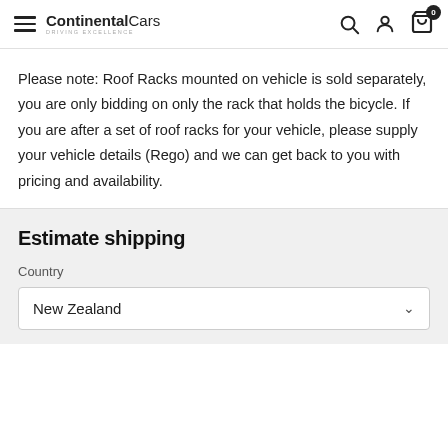ContinentalCars — DRIVING EXCELLENCE
Please note: Roof Racks mounted on vehicle is sold separately, you are only bidding on only the rack that holds the bicycle. If you are after a set of roof racks for your vehicle, please supply your vehicle details (Rego) and we can get back to you with pricing and availability.
Estimate shipping
Country
New Zealand